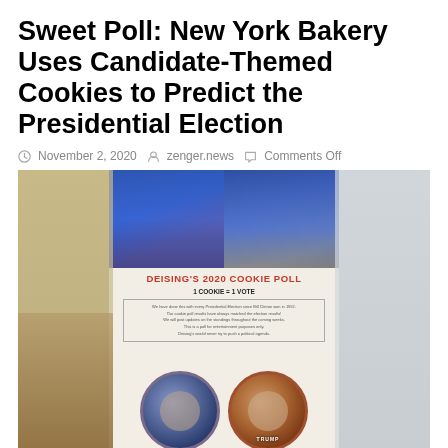Sweet Poll: New York Bakery Uses Candidate-Themed Cookies to Predict the Presidential Election
November 2, 2020   zenger.news   Comments Off
[Figure (photo): Photo of a bakery display showing a sign reading DEISING'S 2020 COOKIE POLL, with 1 COOKIE = 1 VOTE, candidate photos (Trump and Biden) at the top, descriptive text on the sign, and two round decorative cookies at the bottom with candidate images. Bakery products visible on left and right sides.]
[Figure (infographic): Social media sharing bar with buttons for Facebook, Twitter, LinkedIn, Pinterest, email, and print.]